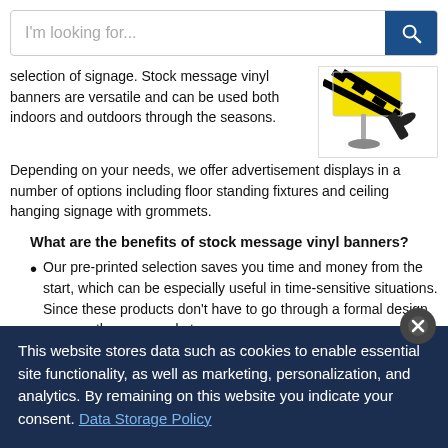I'm looking for...
selection of signage. Stock message vinyl banners are versatile and can be used both indoors and outdoors through the seasons. Depending on your needs, we offer advertisement displays in a number of options including floor standing fixtures and ceiling hanging signage with grommets.
[Figure (photo): A yellow and black striped retractable banner stand with a carry bag]
What are the benefits of stock message vinyl banners?
Our pre-printed selection saves you time and money from the start, which can be especially useful in time-sensitive situations. Since these products don't have to go through a formal design process they are ready-to-
This website stores data such as cookies to enable essential site functionality, as well as marketing, personalization, and analytics. By remaining on this website you indicate your consent. Data Storage Policy